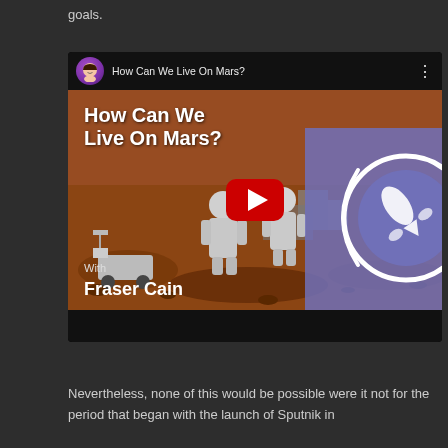goals.
[Figure (screenshot): YouTube video embed titled 'How Can We Live On Mars?' featuring Fraser Cain, showing astronauts on Mars surface with a rover, a YouTube play button overlay, and a Universe Today logo on the right side.]
Nevertheless, none of this would be possible were it not for the period that began with the launch of Sputnik in